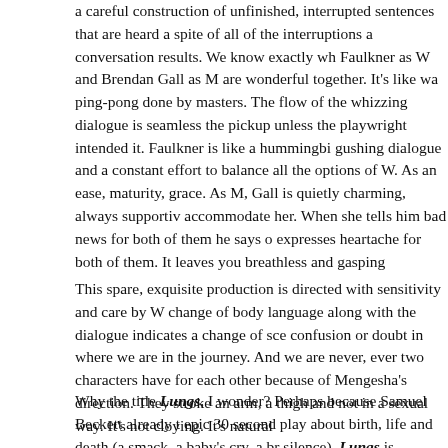a careful construction of unfinished, interrupted sentences that are heard a spite of all of the interruptions a conversation results. We know exactly wh Faulkner as W and Brendan Gall as M are wonderful together. It's like wa ping-pong done by masters. The flow of the whizzing dialogue is seamless the pickup unless the playwright intended it. Faulkner is like a hummingbi gushing dialogue and a constant effort to balance all the options of W. As an ease, maturity, grace. As M, Gall is quietly charming, always supportiv accommodate her. When she tells him bad news for both of them he says o expresses heartache for both of them. It leaves you breathless and gasping
This spare, exquisite production is directed with sensitivity and care by W change of body language along with the dialogue indicates a change of sce confusion or doubt in where we are in the journey. And we are never, ever two characters have for each other because of Mengesha's direction. They stroke an arm, a thigh and not in a sexual way. It's not cloying. It's natural
Why the title Lungs, I wonder? Perhaps because Samuel Beckett already t epic 30 second play about birth, life and death (a smack, a baby's cry, a br silence). Lungs is compelling theatre, beautifully directed and acted. Brea